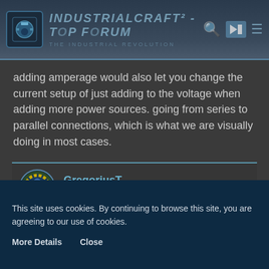IndustrialCraft² - Top Forum · The Industrial Revolution
adding amperage would also let you change the current setup of just adding to the voltage when adding more power sources. going from series to parallel connections, which is what we are visually doing in most cases.
GregoriusT
inactive IC² and GT Dev
Oct 21st 2013  Official Post
Quote from Kye_Duo
This site uses cookies. By continuing to browse this site, you are agreeing to our use of cookies.
More Details   Close